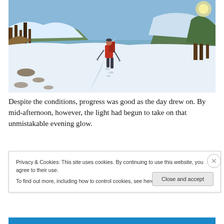[Figure (photo): A person with a red backpack and hiking poles walking up a snow-covered mountain trail on a sunny winter day, with bare trees and snowy slopes in the background.]
Despite the conditions, progress was good as the day drew on. By mid-afternoon, however, the light had begun to take on that unmistakable evening glow.
Privacy & Cookies: This site uses cookies. By continuing to use this website, you agree to their use.
To find out more, including how to control cookies, see here: Cookie Policy